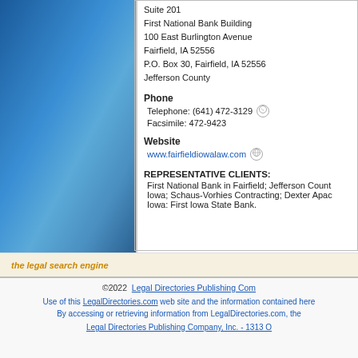[Figure (illustration): Blue gradient sidebar decoration]
Suite 201
First National Bank Building
100 East Burlington Avenue
Fairfield, IA 52556
P.O. Box 30, Fairfield, IA 52556
Jefferson County
Phone
Telephone: (641) 472-3129
Facsimile: 472-9423
Website
www.fairfieldiowalaw.com
REPRESENTATIVE CLIENTS:
First National Bank in Fairfield; Jefferson County Iowa; Schaus-Vorhies Contracting; Dexter Apac Iowa: First Iowa State Bank.
the legal search engine
©2022  Legal Directories Publishing Com
Use of this LegalDirectories.com web site and the information contained here
By accessing or retrieving information from LegalDirectories.com, the
Legal Directories Publishing Company, Inc. - 1313 O